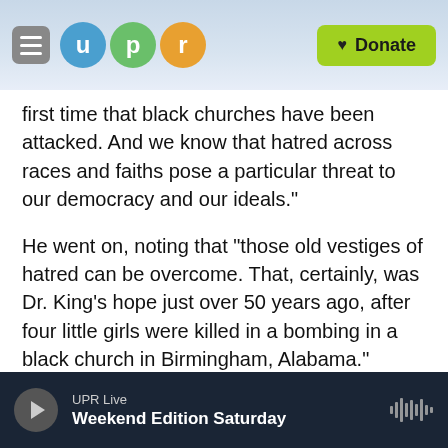UPR — Donate
first time that black churches have been attacked. And we know that hatred across races and faiths pose a particular threat to our democracy and our ideals."
He went on, noting that "those old vestiges of hatred can be overcome. That, certainly, was Dr. King's hope just over 50 years ago, after four little girls were killed in a bombing in a black church in Birmingham, Alabama."
He also called on the country "to shift how we think about the issue of gun violence collectively," though
UPR Live — Weekend Edition Saturday